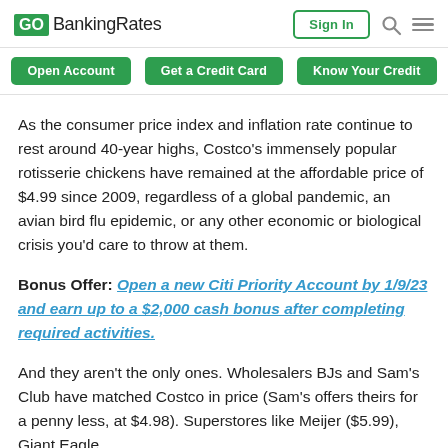GOBankingRates | Sign In
Open Account | Get a Credit Card | Know Your Credit
As the consumer price index and inflation rate continue to rest around 40-year highs, Costco's immensely popular rotisserie chickens have remained at the affordable price of $4.99 since 2009, regardless of a global pandemic, an avian bird flu epidemic, or any other economic or biological crisis you'd care to throw at them.
Bonus Offer: Open a new Citi Priority Account by 1/9/23 and earn up to a $2,000 cash bonus after completing required activities.
And they aren't the only ones. Wholesalers BJs and Sam's Club have matched Costco in price (Sam's offers theirs for a penny less, at $4.98). Superstores like Meijer ($5.99), Giant Eagle